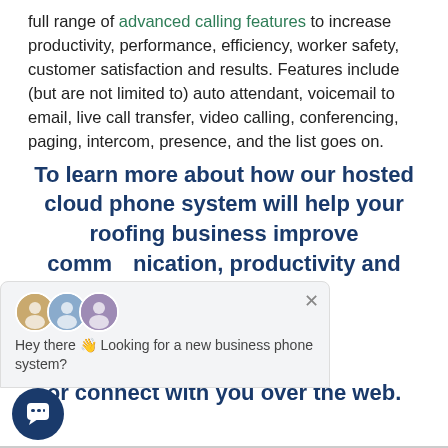full range of advanced calling features to increase productivity, performance, efficiency, worker safety, customer satisfaction and results. Features include (but are not limited to) auto attendant, voicemail to email, live call transfer, video calling, conferencing, paging, intercom, presence, and the list goes on.
To learn more about how our hosted cloud phone system will help your roofing business improve communication, productivity and lay at (336) 544- onsultation and at your location, or connect with you over the web.
[Figure (screenshot): Chat widget popup showing three agent avatars, a close button (×), and the message 'Hey there 👋 Looking for a new business phone system?'. Below it is a circular dark blue chat launcher button with a speech bubble icon.]